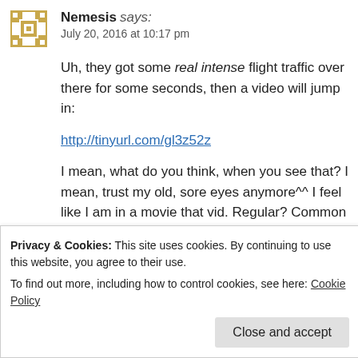Nemesis says: July 20, 2016 at 10:17 pm
Uh, they got some real intense flight traffic over there for some seconds, then a video will jump in:
http://tinyurl.com/gl3z52z
I mean, what do you think, when you see that? I mean, trust my old, sore eyes anymore^^ I feel like I am in a movie that vid. Regular? Common sense? Ok, let's move on
Like
Reply
Privacy & Cookies: This site uses cookies. By continuing to use this website, you agree to their use.
To find out more, including how to control cookies, see here: Cookie Policy
Close and accept